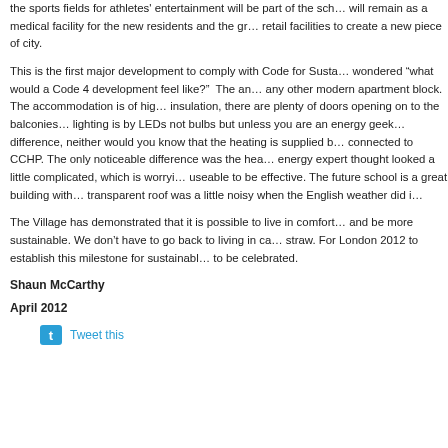the sports fields for athletes' entertainment will be part of the sch... will remain as a medical facility for the new residents and the gr... retail facilities to create a new piece of city.
This is the first major development to comply with Code for Susta... wondered “what would a Code 4 development feel like?”  The an... any other modern apartment block. The accommodation is of hig... insulation, there are plenty of doors opening on to the balconies... lighting is by LEDs not bulbs but unless you are an energy geek... difference, neither would you know that the heating is supplied b... connected to CCHP. The only noticeable difference was the hea... energy expert thought looked a little complicated, which is worryi... useable to be effective. The future school is a great building with... transparent roof was a little noisy when the English weather did i...
The Village has demonstrated that it is possible to live in comfort... and be more sustainable. We don’t have to go back to living in ca... straw. For London 2012 to establish this milestone for sustainabl... to be celebrated.
Shaun McCarthy
April 2012
[Figure (logo): Twitter bird icon in blue square, followed by 'Tweet this' link text in blue]